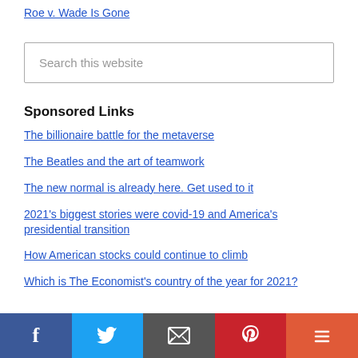Roe v. Wade Is Gone
Search this website
Sponsored Links
The billionaire battle for the metaverse
The Beatles and the art of teamwork
The new normal is already here. Get used to it
2021's biggest stories were covid-19 and America's presidential transition
How American stocks could continue to climb
Which is The Economist's country of the year for 2021?
Facebook | Twitter | Email | Pinterest | More